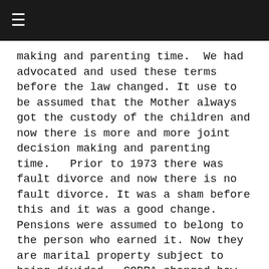≡
making and parenting time.  We had advocated and used these terms before the law changed. It use to be assumed that the Mother always got the custody of the children and now there is more and more joint decision making and parenting time.   Prior to 1973 there was fault divorce and now there is no fault divorce. It was a sham before this and it was a good change.  Pensions were assumed to belong to the person who earned it. Now they are marital property subject to being divided.  COBRA changed how health insurance could  be used to cover someone with a preexisting condition.  People stays married or were legally separated to keep their insurance.  Now that has changed again with the Affordable Health Care Act with allows coverage of preexisting conditions.  There did not